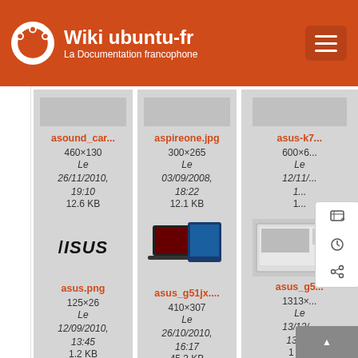Wiki ubuntu-fr — La Documentation francophone
[Figure (screenshot): File listing grid from Wiki ubuntu-fr showing image files: asound_car..., aspireone.jpg, asus-k7..., asus.png, asus_g51jx...., asus_g5...]
asound_car... — 460×130 — Le 26/11/2010, 19:10 — 12.6 KB
aspireone.jpg — 300×265 — Le 03/09/2008, 18:22 — 12.1 KB
asus-k7... — 600×6... — Le 12/11/... 1...
asus.png — 125×26 — Le 12/09/2010, 13:45 — 1.2 KB
asus_g51jx.... — 410×307 — Le 26/10/2010, 16:17 — 45.3 KB
asus_g5... — 1313×... — Le 13/12/... 13:5... — 1 K...